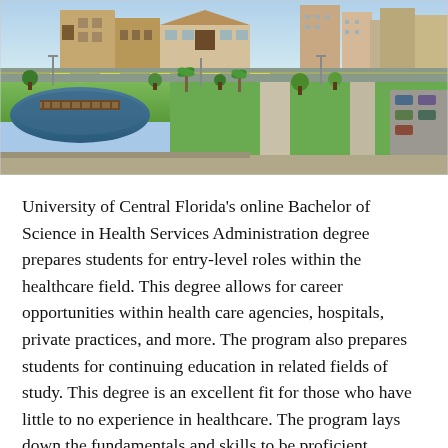[Figure (photo): Aerial/street-level photograph of University of Central Florida campus showing buildings, a pond with a wooden bridge, green lawns, palm trees, walkways, and parking areas.]
University of Central Florida's online Bachelor of Science in Health Services Administration degree prepares students for entry-level roles within the healthcare field. This degree allows for career opportunities within health care agencies, hospitals, private practices, and more. The program also prepares students for continuing education in related fields of study. This degree is an excellent fit for those who have little to no experience in healthcare. The program lays down the fundamentals and skills to be proficient